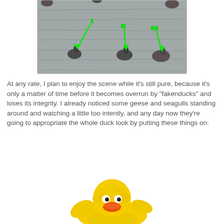[Figure (photo): Photo of birds (ducks/geese) on water with green pixel-count indicators (I, II, III) and green arrows pointing to birds in the water]
At any rate, I plan to enjoy the scene while it's still pure, because it's only a matter of time before it becomes overrun by "fakenducks" and loses its integrity. I already noticed some geese and seagulls standing around and watching a little too intently, and any day now they're going to appropriate the whole duck look by putting these things on:
[Figure (photo): Photo of a person dressed in a yellow duck/rubber duck costume, waving, with a large orange beak, on a white background]